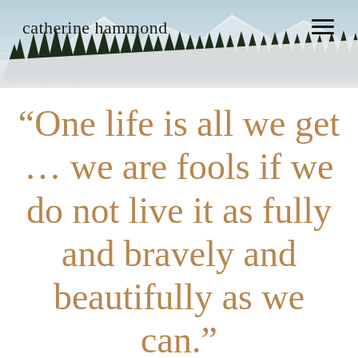[Figure (photo): Mountain landscape banner with pine trees, snow-capped peaks, and diagonal gray overlay at bottom, used as website header background]
catherine hammond
“One life is all we get … we are fools if we do not live it as fully and bravely and beautifully as we can.”